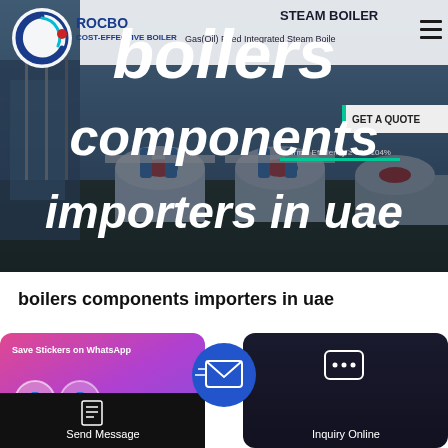[Figure (screenshot): ROCBO Boiler website screenshot showing industrial steam boilers in a facility, with overlaid large white bold italic text reading 'boilers components importers in uae'. The site header shows 'ROCBO BOILER' logo, 'STEAM BOILER' label, 'Gas(Oil) Fired Integrated Steam Boiler' subtitle, and a GET A QUOTE button. Top right has a hamburger menu icon.]
boilers components importers in uae
[Figure (screenshot): Bottom action bar with a WhatsApp sticker card (pink/purple gradient, 'Save Stickers on WhatsApp'), a Send Message button (dark, with document icon), a central blue circular email/message icon, and an Inquiry Online button (dark, with chat bubble icon).]